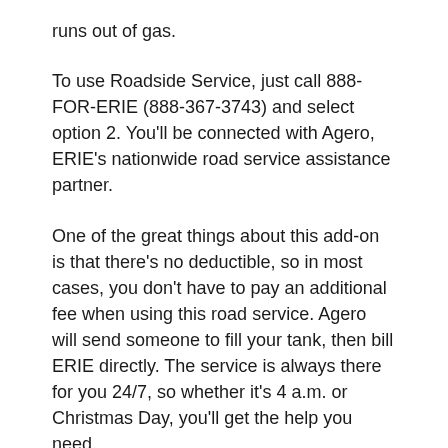runs out of gas.
To use Roadside Service, just call 888-FOR-ERIE (888-367-3743) and select option 2. You'll be connected with Agero, ERIE's nationwide road service assistance partner.
One of the great things about this add-on is that there's no deductible, so in most cases, you don't have to pay an additional fee when using this road service. Agero will send someone to fill your tank, then bill ERIE directly. The service is always there for you 24/7, so whether it's 4 a.m. or Christmas Day, you'll get the help you need.